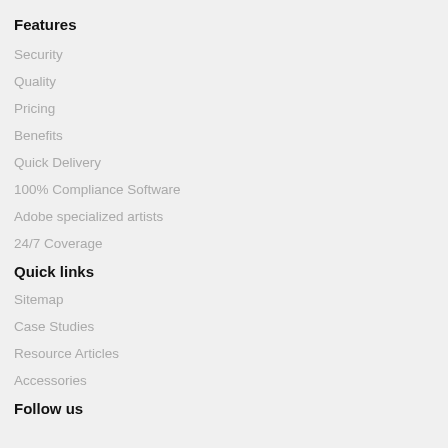Features
Security
Quality
Pricing
Benefits
Quick Delivery
100% Compliance Software
Adobe specialized artists
24/7 Coverage
Quick links
Sitemap
Case Studies
Resource Articles
Accessories
Follow us